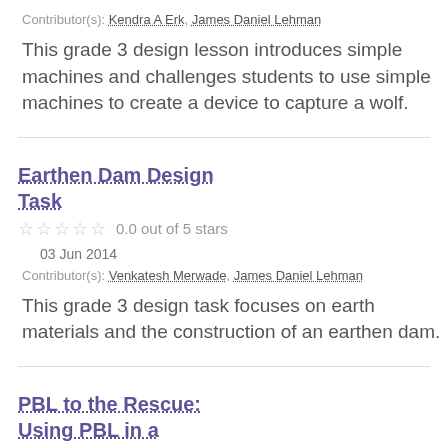Contributor(s): Kendra A Erk, James Daniel Lehman
This grade 3 design lesson introduces simple machines and challenges students to use simple machines to create a device to capture a wolf.
Earthen Dam Design Task
0.0 out of 5 stars
03 Jun 2014
Contributor(s): Venkatesh Merwade, James Daniel Lehman
This grade 3 design task focuses on earth materials and the construction of an earthen dam.
PBL to the Rescue: Using PBL in a Human Anatomy and